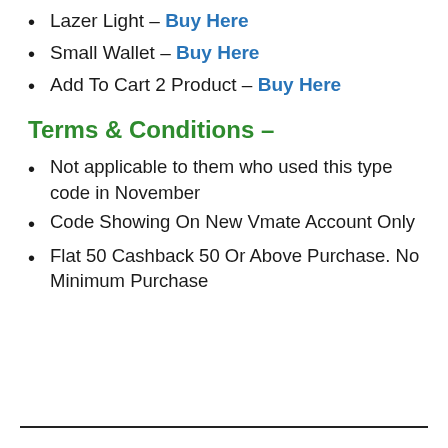Lazer Light – Buy Here
Small Wallet – Buy Here
Add To Cart 2 Product – Buy Here
Terms & Conditions –
Not applicable to them who used this type code in November
Code Showing On New Vmate Account Only
Flat 50 Cashback 50 Or Above Purchase. No Minimum Purchase